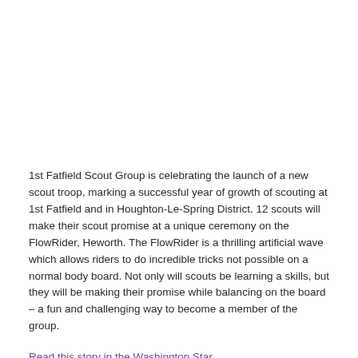1st Fatfield Scout Group is celebrating the launch of a new scout troop, marking a successful year of growth of scouting at 1st Fatfield and in Houghton-Le-Spring District. 12 scouts will make their scout promise at a unique ceremony on the FlowRider, Heworth. The FlowRider is a thrilling artificial wave which allows riders to do incredible tricks not possible on a normal body board. Not only will scouts be learning a skills, but they will be making their promise while balancing on the board – a fun and challenging way to become a member of the group.
Read this story in the Washington Star
The new troop is part of 1st Fatfield Scouts and is based at Duxbury Park, Fatfield. The scout group has nearly 200 members across beaver, cub and scouts sections and all young people experience a new adventure every week. Scouts enjoy regular camps including a week-